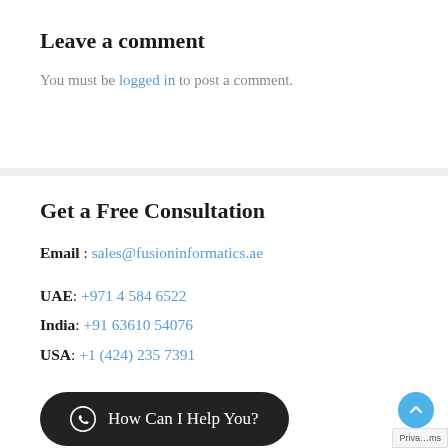Leave a comment
You must be logged in to post a comment.
Get a Free Consultation
Email : sales@fusioninformatics.ae
UAE: +971 4 584 6522
India: +91 63610 54076
USA: +1 (424) 235 7391
How Can I Help You?